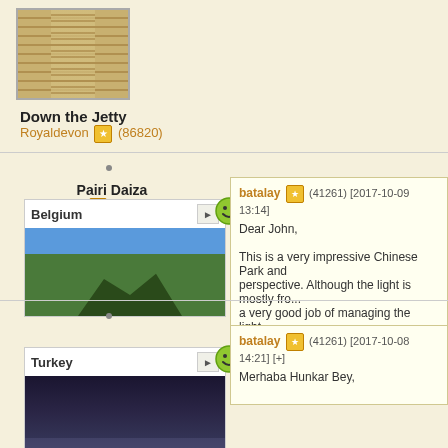[Figure (photo): Photo of a wooden jetty/walkway viewed from above, showing wooden plank decking with railing sides]
Down the Jetty
Royaldevon (86820)
[Figure (photo): Photo of Pairi Daiza zoo/park in Belgium, showing exotic buildings with curved roofs surrounded by trees]
Belgium
Pairi Daiza
jhm (211738)
batalay (41261) [2017-10-09 13:14]
Dear John,

This is a very impressive Chinese Park and perspective. Although the light is mostly fro... a very good job of managing the light.

Warm regards,

Bulent
[Figure (photo): Photo taken in Turkey, dark interior or nighttime scene]
Turkey
batalay (41261) [2017-10-08 14:21] [+]
Merhaba Hunkar Bey,